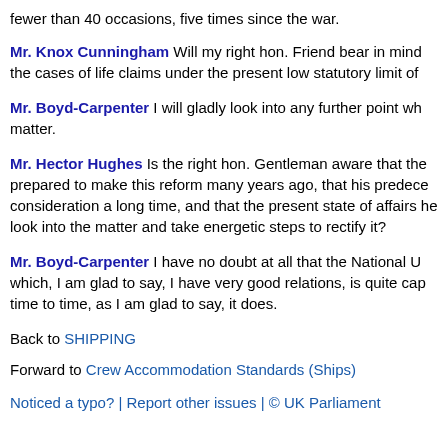fewer than 40 occasions, five times since the war.
Mr. Knox Cunningham Will my right hon. Friend bear in mind the cases of life claims under the present low statutory limit of
Mr. Boyd-Carpenter I will gladly look into any further point wh matter.
Mr. Hector Hughes Is the right hon. Gentleman aware that the prepared to make this reform many years ago, that his predece consideration a long time, and that the present state of affairs he look into the matter and take energetic steps to rectify it?
Mr. Boyd-Carpenter I have no doubt at all that the National U which, I am glad to say, I have very good relations, is quite cap time to time, as I am glad to say, it does.
Back to SHIPPING
Forward to Crew Accommodation Standards (Ships)
Noticed a typo? | Report other issues | © UK Parliament